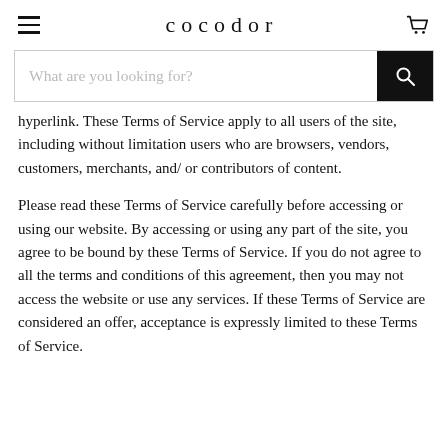cocodor
[Figure (other): Search bar with text placeholder 'What are you looking for?' and a black search button with magnifying glass icon]
hyperlink. These Terms of Service apply to all users of the site, including without limitation users who are browsers, vendors, customers, merchants, and/ or contributors of content.
Please read these Terms of Service carefully before accessing or using our website. By accessing or using any part of the site, you agree to be bound by these Terms of Service. If you do not agree to all the terms and conditions of this agreement, then you may not access the website or use any services. If these Terms of Service are considered an offer, acceptance is expressly limited to these Terms of Service.